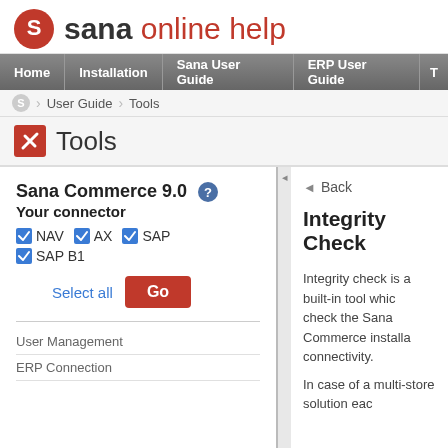sana online help
Home | Installation | Sana User Guide | ERP User Guide
User Guide > Tools
Tools
Sana Commerce 9.0
Your connector
☑ NAV  ☑ AX  ☑ SAP
☑ SAP B1
Select all  Go
◄ Back
Integrity Check
Integrity check is a built-in tool which check the Sana Commerce installation connectivity.
In case of a multi-store solution each
User Management
ERP Connection